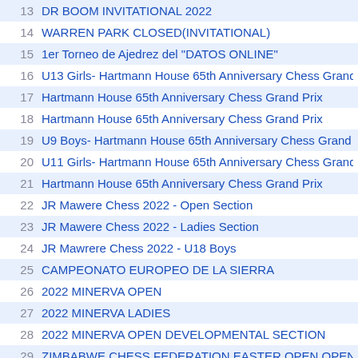13  DR BOOM INVITATIONAL 2022
14  WARREN PARK CLOSED(INVITATIONAL)
15  1er Torneo de Ajedrez del "DATOS ONLINE"
16  U13 Girls- Hartmann House 65th Anniversary Chess Grand
17  Hartmann House 65th Anniversary Chess Grand Prix
18  Hartmann House 65th Anniversary Chess Grand Prix
19  U9 Boys- Hartmann House 65th Anniversary Chess Grand
20  U11 Girls- Hartmann House 65th Anniversary Chess Grand
21  Hartmann House 65th Anniversary Chess Grand Prix
22  JR Mawere Chess 2022 - Open Section
23  JR Mawere Chess 2022 - Ladies Section
24  JR Mawrere Chess 2022 - U18 Boys
25  CAMPEONATO EUROPEO DE LA SIERRA
26  2022 MINERVA OPEN
27  2022 MINERVA LADIES
28  2022 MINERVA OPEN DEVELOPMENTAL SECTION
29  ZIMBABWE CHESS FEDERATION EASTER OPEN OPEN
30  ZIMBABWE CHESS FEDERATION EASTER OPEN LADIE
31  ZCF EASTER 2022 DEVELOPMENT SECTION
32  ZRP CGP INDIVIDUALS MEN 2022
33  ZRP CGP LADIES INDIVIDUALS 2022
34  ZRP CGP SPORTS GALA MEN 2022
35  Girls and Women Open 2022
36  Dr Boom 2022 Invitational